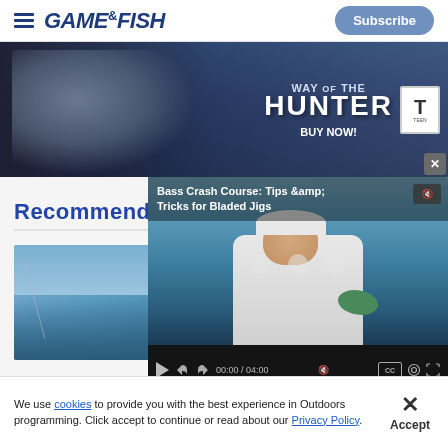Game & Fish — Subscribe
[Figure (screenshot): Way of the Hunter game advertisement banner with hunter figure, game logo, and 'BUY NOW!' call to action]
Recommended
[Figure (screenshot): Video player overlay showing fisherman holding bass, titled 'Bass Crash Course: Tips & Tricks for Bladed Jigs', time 00:00 / 04:00]
We use cookies to provide you with the best experience in Outdoors programming. Click accept to continue or read about our Privacy Policy.